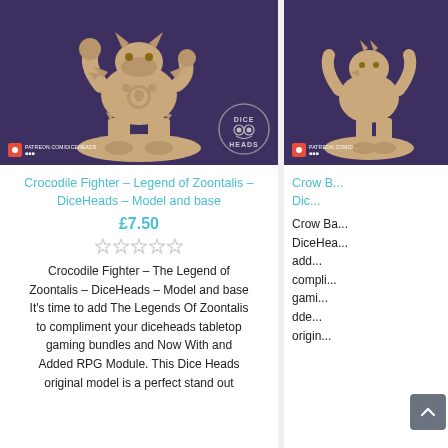[Figure (photo): 3D printed tabletop miniature of a Crocodile Fighter character on a circular base, photographed against a dark purple background. Patreon.com/DiceHeads badge in bottom-left, DiceHeads logo in bottom-right.]
Crocodile Fighter – Legend of Zoontalis – DiceHeads – Model and base
£7.50
Crocodile Fighter – The Legend of Zoontalis – DiceHeads – Model and base It's time to add The Legends Of Zoontalis to compliment your diceheads tabletop gaming bundles and Now With and Added RPG Module. This Dice Heads original model is a perfect stand out
[Figure (photo): Partially visible 3D printed tabletop miniature (Crow character) on a circular base against dark purple background. Patreon badge visible at bottom-left.]
Crow B... – Dic...
Crow Ba... DiceHea... add... compli... gami... dde... origin...